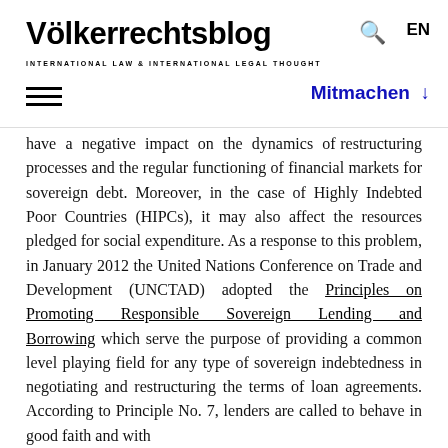Völkerrechtsblog INTERNATIONAL LAW & INTERNATIONAL LEGAL THOUGHT EN Mitmachen
have a negative impact on the dynamics of restructuring processes and the regular functioning of financial markets for sovereign debt. Moreover, in the case of Highly Indebted Poor Countries (HIPCs), it may also affect the resources pledged for social expenditure. As a response to this problem, in January 2012 the United Nations Conference on Trade and Development (UNCTAD) adopted the Principles on Promoting Responsible Sovereign Lending and Borrowing which serve the purpose of providing a common level playing field for any type of sovereign indebtedness in negotiating and restructuring the terms of loan agreements. According to Principle No. 7, lenders are called to behave in good faith and with